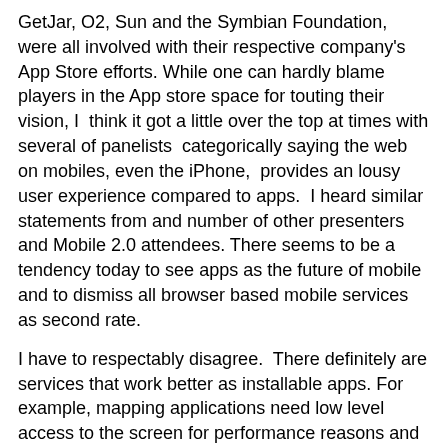GetJar, O2, Sun and the Symbian Foundation, were all involved with their respective company's App Store efforts. While one can hardly blame players in the App store space for touting their vision, I think it got a little over the top at times with several of panelists categorically saying the web on mobiles, even the iPhone, provides an lousy user experience compared to apps. I heard similar statements from and number of other presenters and Mobile 2.0 attendees. There seems to be a tendency today to see apps as the future of mobile and to dismiss all browser based mobile services as second rate.
I have to respectably disagree. There definitely are services that work better as installable apps. For example, mapping applications need low level access to the screen for performance reasons and navigation and IM clients need to do real time notifications. But other types of applications like RSS readers, social networking clients and services that publish news, sports and weather information can deliver a user experience in the browser that is as good or a better than that provided by an installable app.
One shouldn't overlook the extra costs associated with apps for vendors and users. The web is cross platform, apps are specific to one of a dozen or more different mobile OSs and runtimes, making cross platform app development quite